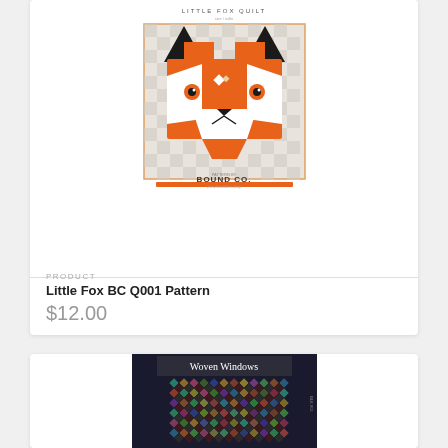[Figure (illustration): Little Fox Quilt pattern cover showing a geometric orange fox face on a checkerboard background, with 'LITTLE FOX QUILT' title at top and 'BOUND CO.' publisher text at bottom, with an orange accent bar]
PRODUCT
Little Fox BC Q001 Pattern
$12.00
[Figure (illustration): Woven Windows quilt pattern cover showing a dark background with colorful diamond/square lattice pattern, title 'Woven Windows' in dark banner at top]